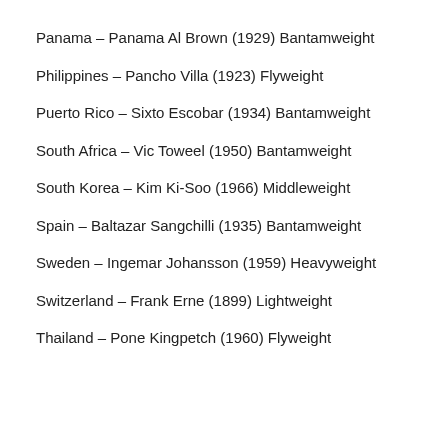Panama – Panama Al Brown (1929) Bantamweight
Philippines – Pancho Villa (1923) Flyweight
Puerto Rico – Sixto Escobar (1934) Bantamweight
South Africa – Vic Toweel (1950) Bantamweight
South Korea – Kim Ki-Soo (1966) Middleweight
Spain – Baltazar Sangchilli (1935) Bantamweight
Sweden – Ingemar Johansson (1959) Heavyweight
Switzerland – Frank Erne (1899) Lightweight
Thailand – Pone Kingpetch (1960) Flyweight